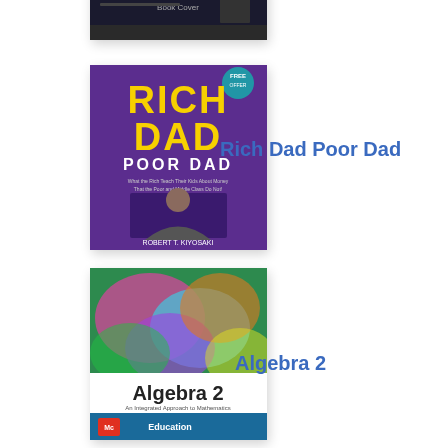[Figure (photo): Partial book cover visible at top of page]
[Figure (photo): Book cover: Rich Dad Poor Dad by Robert T. Kiyosaki - purple cover with yellow text]
Rich Dad Poor Dad
[Figure (photo): Book cover: Algebra 2 by McGraw Hill Education - colorful abstract background with title text]
Algebra 2